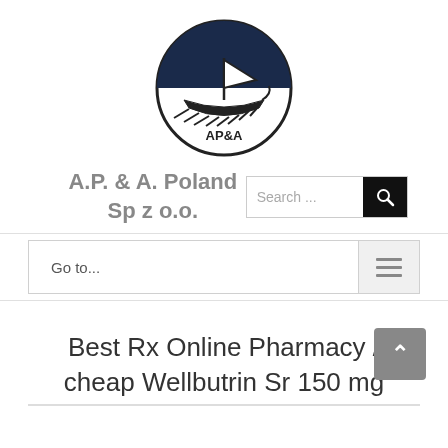[Figure (logo): AP&A logo: circular emblem with dark blue upper half showing a white sailing ship/Viking longship, lower white half with 'AP&A' text, black circular border]
A.P. & A. Poland Sp z o.o.
Search ...
Go to...
Best Rx Online Pharmacy / cheap Wellbutrin Sr 150 mg